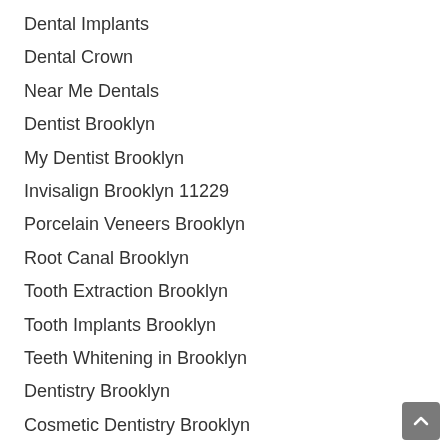Dental Implants
Dental Crown
Near Me Dentals
Dentist Brooklyn
My Dentist Brooklyn
Invisalign Brooklyn 11229
Porcelain Veneers Brooklyn
Root Canal Brooklyn
Tooth Extraction Brooklyn
Tooth Implants Brooklyn
Teeth Whitening in Brooklyn
Dentistry Brooklyn
Cosmetic Dentistry Brooklyn
Dentist Brooklyn
Dentist Brooklyn 11229
Dentist Brooklyn 11223
Dentist Brooklyn 11235
Dentist Brooklyn 11224